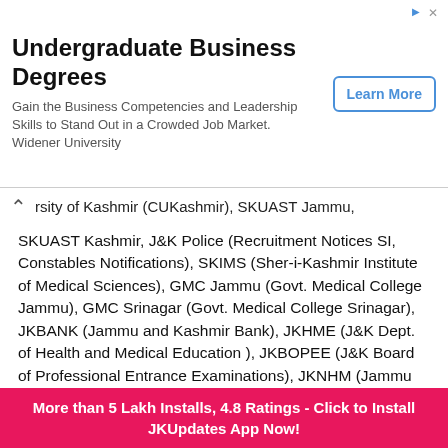[Figure (other): Advertisement banner for Widener University Undergraduate Business Degrees with a Learn More button]
rsity of Kashmir (CUKashmir), SKUAST Jammu, SKUAST Kashmir, J&K Police (Recruitment Notices SI, Constables Notifications), SKIMS (Sher-i-Kashmir Institute of Medical Sciences), GMC Jammu (Govt. Medical College Jammu), GMC Srinagar (Govt. Medical College Srinagar), JKBANK (Jammu and Kashmir Bank), JKHME (J&K Dept. of Health and Medical Education ), JKBOPEE (J&K Board of Professional Entrance Examinations), JKNHM (Jammu Kashmir National Health Mission), Indian Post Office, India Post banks, IBPS, Cluster University Jammu/ Srinagar
JKUpdates Update all Date Sheet like 8th Class, 9th Class, 10th & 11th & 12 Class date Sheets, All Jammu/ Kashmir University Date Sheets
More than 5 Lakh Installs, 4.8 Ratings - Click to Install JKUpdates App Now!